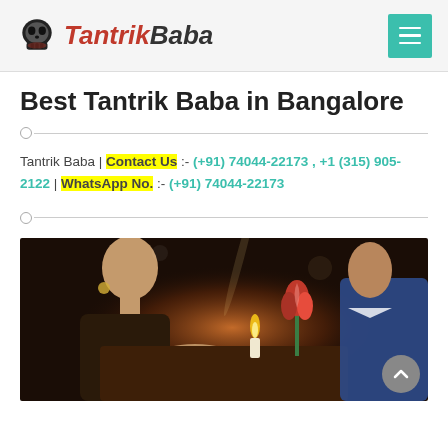Tantrik Baba — navigation header with logo and menu button
Best Tantrik Baba in Bangalore
Tantrik Baba | Contact Us :- (+91) 74044-22173 , +1 (315) 905-2122 | WhatsApp No. :- (+91) 74044-22173
[Figure (photo): A couple holding hands across a table with a candle and a red tulip flower in the background, romantic dinner scene.]